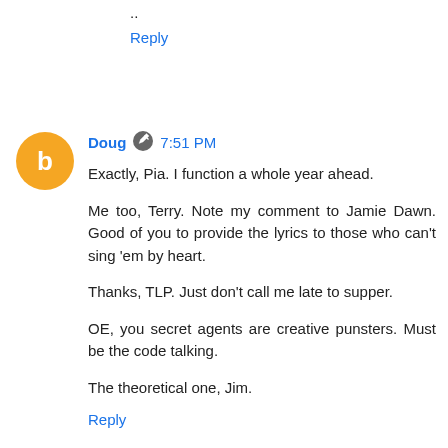avalanche?
..
Reply
Doug  7:51 PM
Exactly, Pia. I function a whole year ahead.

Me too, Terry. Note my comment to Jamie Dawn. Good of you to provide the lyrics to those who can't sing 'em by heart.

Thanks, TLP. Just don't call me late to supper.

OE, you secret agents are creative punsters. Must be the code talking.

The theoretical one, Jim.
Reply